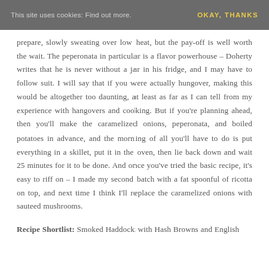This site uses cookies: Find out more. OKAY, THANKS
prepare, slowly sweating over low heat, but the pay-off is well worth the wait. The peperonata in particular is a flavor powerhouse – Doherty writes that he is never without a jar in his fridge, and I may have to follow suit. I will say that if you were actually hungover, making this would be altogether too daunting, at least as far as I can tell from my experience with hangovers and cooking. But if you're planning ahead, then you'll make the caramelized onions, peperonata, and boiled potatoes in advance, and the morning of all you'll have to do is put everything in a skillet, put it in the oven, then lie back down and wait 25 minutes for it to be done. And once you've tried the basic recipe, it's easy to riff on – I made my second batch with a fat spoonful of ricotta on top, and next time I think I'll replace the caramelized onions with sauteed mushrooms.
Recipe Shortlist: Smoked Haddock with Hash Browns and English